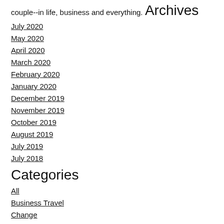couple--in life, business and everything.
Archives
July 2020
May 2020
April 2020
March 2020
February 2020
January 2020
December 2019
November 2019
October 2019
August 2019
July 2019
July 2018
Categories
All
Business Travel
Change